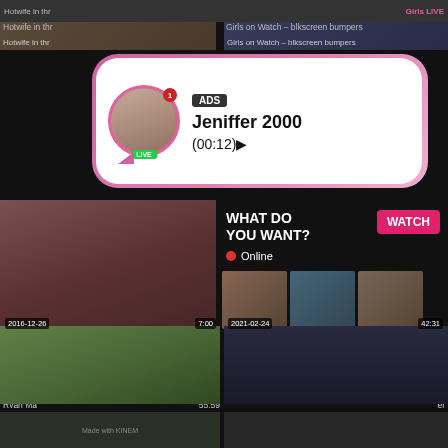Hotwife in thr
Girls on Watch – blkscreen bumpers
[Figure (screenshot): Ad overlay popup with avatar of a woman, LIVE badge, ADS tag, name Jeniffer 2000, time (00:12), pink background bubble]
ADS
Jeniffer 2000
(00:12)
[Figure (screenshot): Video thumbnail of woman performing oral sex]
[Figure (screenshot): Overlay panel: WHAT DO YOU WANT? with WATCH button, Online indicator, three small thumbnails, text Cumming, ass fucking, squirt or... • ADS]
WHAT DO YOU WANT?
WATCH
Online
Cumming, ass fucking, squirt or...
• ADS
2021-02
Ryan Ma
55:59
er
[Figure (screenshot): Video thumbnail showing two women on green sheet, date 2016-12-26, duration 7:00]
2016-12-26
7:00
Sara Jay & Amirah Adara & Jennifer
[Figure (screenshot): Video thumbnail showing woman performing oral sex, date 2021-02-24, duration 42:31]
2021-02-24
42:31
MARIE DE BORDEAUX VEUT SE
[Figure (screenshot): Partial video thumbnail at bottom left, feet visible, Made with KINEM watermark]
[Figure (screenshot): Partial video thumbnail at bottom right]